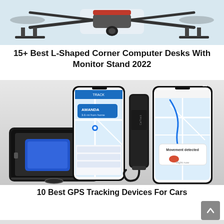[Figure (photo): Top portion of a drone with red and black frame against a light background, partially cropped at the bottom]
15+ Best L-Shaped Corner Computer Desks With Monitor Stand 2022
[Figure (photo): GPS tracking devices: a rugged waterproof black case with blue GPS tracker, two smartphones showing a GPS tracking app with map and location of AMANDA 3.6 miles from home, a black cylindrical GPS device with cable, and a phone showing movement detected notification]
10 Best GPS Tracking Devices For Cars